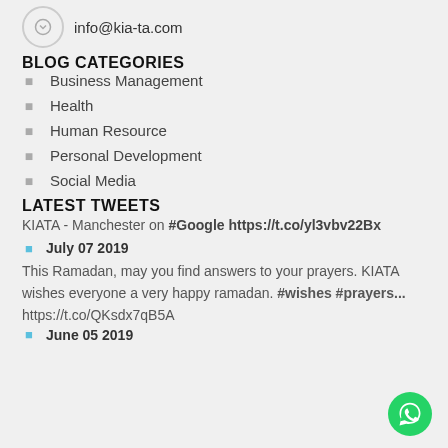info@kia-ta.com
BLOG CATEGORIES
Business Management
Health
Human Resource
Personal Development
Social Media
LATEST TWEETS
KIATA - Manchester on #Google https://t.co/yl3vbv22Bx
July 07 2019
This Ramadan, may you find answers to your prayers. KIATA wishes everyone a very happy ramadan. #wishes #prayers... https://t.co/QKsdx7qB5A
June 05 2019